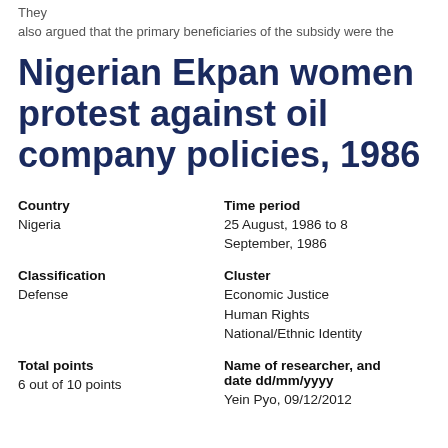They also argued that the primary beneficiaries of the subsidy were the
Nigerian Ekpan women protest against oil company policies, 1986
Country
Nigeria
Time period
25 August, 1986 to 8 September, 1986
Classification
Defense
Cluster
Economic Justice
Human Rights
National/Ethnic Identity
Total points
6 out of 10 points
Name of researcher, and date dd/mm/yyyy
Yein Pyo, 09/12/2012